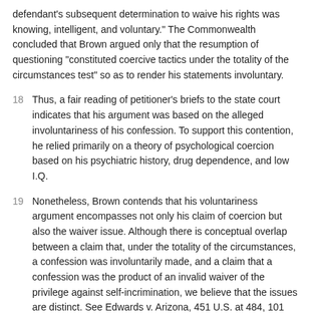defendant's subsequent determination to waive his rights was knowing, intelligent, and voluntary." The Commonwealth concluded that Brown argued only that the resumption of questioning "constituted coercive tactics under the totality of the circumstances test" so as to render his statements involuntary.
18  Thus, a fair reading of petitioner's briefs to the state court indicates that his argument was based on the alleged involuntariness of his confession. To support this contention, he relied primarily on a theory of psychological coercion based on his psychiatric history, drug dependence, and low I.Q.
19  Nonetheless, Brown contends that his voluntariness argument encompasses not only his claim of coercion but also the waiver issue. Although there is conceptual overlap between a claim that, under the totality of the circumstances, a confession was involuntarily made, and a claim that a confession was the product of an invalid waiver of the privilege against self-incrimination, we believe that the issues are distinct. See Edwards v. Arizona, 451 U.S. at 484, 101 S.Ct. at 1884 ("the voluntariness of a consent or an admission on the one hand, and a knowing and intelligent waiver on the other, are discrete inquiries" ).